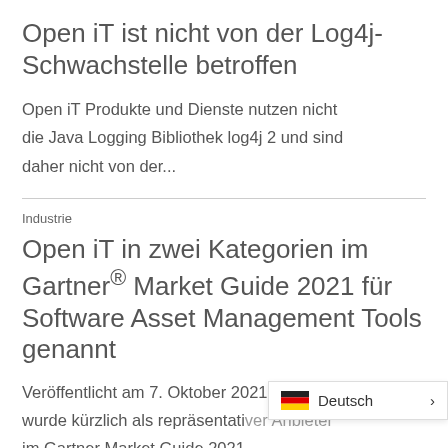Open iT ist nicht von der Log4j-Schwachstelle betroffen
Open iT Produkte und Dienste nutzen nicht die Java Logging Bibliothek log4j 2 und sind daher nicht von der...
Industrie
Open iT in zwei Kategorien im Gartner® Market Guide 2021 für Software Asset Management Tools genannt
Veröffentlicht am 7. Oktober 2021 OpeniT wurde kürzlich als repräsentativer Anbieter im Gartner Market Guide 2021
Deutsch